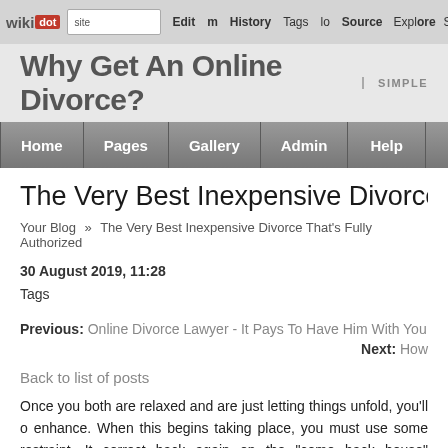wiki dot | site Edit History Tags Source Explore Share on
Why Get An Online Divorce? | SIMPLE
Home | Pages | Gallery | Admin | Help
The Very Best Inexpensive Divorce That'
Your Blog » The Very Best Inexpensive Divorce That's Fully Authorized
30 August 2019, 11:28
Tags
Previous: Online Divorce Lawyer - It Pays To Have Him With You
Next: How
Back to list of posts
Once you both are relaxed and are just letting things unfold, you'll o enhance. When this begins taking place, you must use some restraint. It correct back again on the "come back house" bandwagon, but it is in you